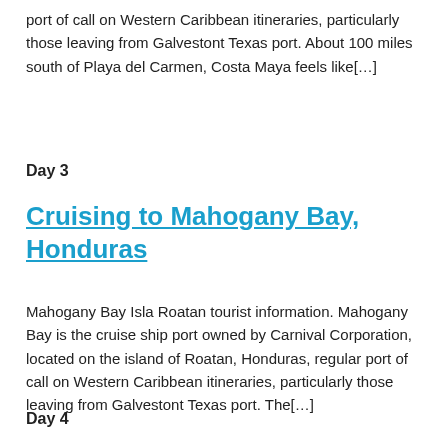port of call on Western Caribbean itineraries, particularly those leaving from Galvestont Texas port. About 100 miles south of Playa del Carmen, Costa Maya feels like[…]
Day 3
Cruising to Mahogany Bay, Honduras
Mahogany Bay Isla Roatan tourist information. Mahogany Bay is the cruise ship port owned by Carnival Corporation, located on the island of Roatan, Honduras, regular port of call on Western Caribbean itineraries, particularly those leaving from Galvestont Texas port. The[…]
Day 4